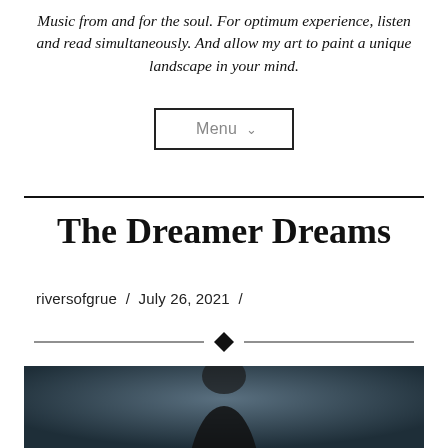Music from and for the soul. For optimum experience, listen and read simultaneously. And allow my art to paint a unique landscape in your mind.
[Figure (other): Menu navigation button with border and chevron arrow]
The Dreamer Dreams
riversofgrue / July 26, 2021 /
[Figure (other): Decorative ornamental divider with diamond shape in center flanked by horizontal lines]
[Figure (photo): Partial view of a dark atmospheric photo showing a silhouetted figure against a dark teal/blue background, cropped at bottom of page]